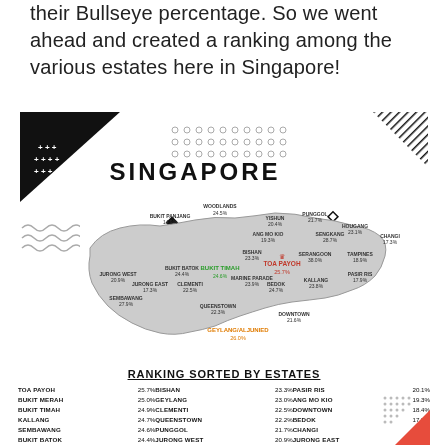their Bullseye percentage. So we went ahead and created a ranking among the various estates here in Singapore!
[Figure (map): Map of Singapore with estates labeled by their Bullseye percentage. Toa Payoh highlighted in red/orange as top estate (25.7%), Bukit Timah in green (24.6%), Geylang/Aljunied in orange (26.0%). Various other estates labeled with percentages across the island map.]
RANKING SORTED BY ESTATES
| TOA PAYOH | 25.7% | BISHAN | 23.3% | PASIR RIS | 20.1% |
| BUKIT MERAH | 25.0% | GEYLANG | 23.0% | ANG MO KIO | 19.3% |
| BUKIT TIMAH | 24.9% | CLEMENTI | 22.5% | DOWNTOWN | 18.4% |
| KALLANG | 24.7% | QUEENSTOWN | 22.2% | BEDOK | 17.9% |
| SEMBAWANG | 24.6% | PUNGGOL | 21.7% | CHANGI | 17.3% |
| BUKIT BATOK | 24.4% | JURONG WEST | 20.9% | JURONG EAST | 17.2% |